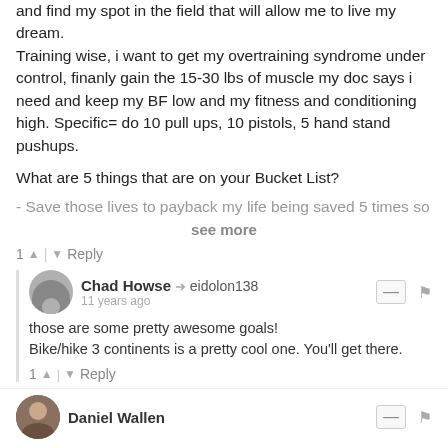and find my spot in the field that will allow me to live my dream.
Training wise, i want to get my overtraining syndrome under control, finanly gain the 15-30 lbs of muscle my doc says i need and keep my BF low and my fitness and conditioning high. Specific= do 10 pull ups, 10 pistols, 5 hand stand pushups.
What are 5 things that are on your Bucket List?
- Save those lives to payback my life being saved 5 times so
see more
1 ▲ | ▼ Reply
Chad Howse → eidolon138
11 years ago
those are some pretty awesome goals!
Bike/hike 3 continents is a pretty cool one. You&#039ll get there.
1 ▲ | ▼ Reply
Daniel Wallen